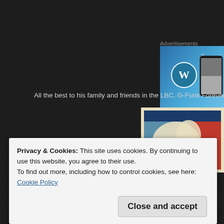Advertisements
[Figure (screenshot): WordPress advertisement banner with blue gradient background, WordPress logo on left and phone mockup on right]
All the best to his family and friends in the LBC. G-Funk Forever!
[Figure (illustration): Shepard Fairey-style poster illustration of a figure in blue, red and cream colors]
Privacy & Cookies: This site uses cookies. By continuing to use this website, you agree to their use.
To find out more, including how to control cookies, see here: Cookie Policy
Close and accept